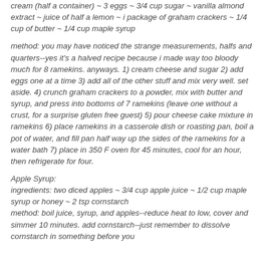cream (half a container) ~ 3 eggs ~ 3/4 cup sugar ~ vanilla almond extract ~ juice of half a lemon ~ i package of graham crackers ~ 1/4 cup of butter ~ 1/4 cup maple syrup
method: you may have noticed the strange measurements, halfs and quarters--yes it's a halved recipe because i made way too bloody much for 8 ramekins. anyways. 1) cream cheese and sugar 2) add eggs one at a time 3) add all of the other stuff and mix very well. set aside. 4) crunch graham crackers to a powder, mix with butter and syrup, and press into bottoms of 7 ramekins (leave one without a crust, for a surprise gluten free guest) 5) pour cheese cake mixture in ramekins 6) place ramekins in a casserole dish or roasting pan, boil a pot of water, and fill pan half way up the sides of the ramekins for a water bath 7) place in 350 F oven for 45 minutes, cool for an hour, then refrigerate for four.
Apple Syrup:
ingredients: two diced apples ~ 3/4 cup apple juice ~ 1/2 cup maple syrup or honey ~ 2 tsp cornstarch
method: boil juice, syrup, and apples--reduce heat to low, cover and simmer 10 minutes. add cornstarch--just remember to dissolve cornstarch in something before you